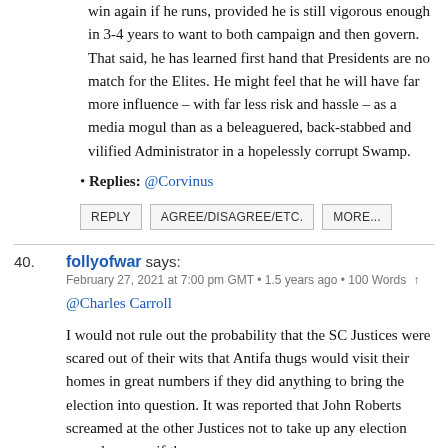win again if he runs, provided he is still vigorous enough in 3-4 years to want to both campaign and then govern. That said, he has learned first hand that Presidents are no match for the Elites. He might feel that he will have far more influence – with far less risk and hassle – as a media mogul than as a beleaguered, back-stabbed and vilified Administrator in a hopelessly corrupt Swamp.
Replies: @Corvinus
REPLY   AGREE/DISAGREE/ETC.   MORE...
40. follyofwar says:
February 27, 2021 at 7:00 pm GMT • 1.5 years ago • 100 Words ↑
@Charles Carroll
I would not rule out the probability that the SC Justices were scared out of their wits that Antifa thugs would visit their homes in great numbers if they did anything to bring the election into question. It was reported that John Roberts screamed at the other Justices not to take up any election cases because, if they